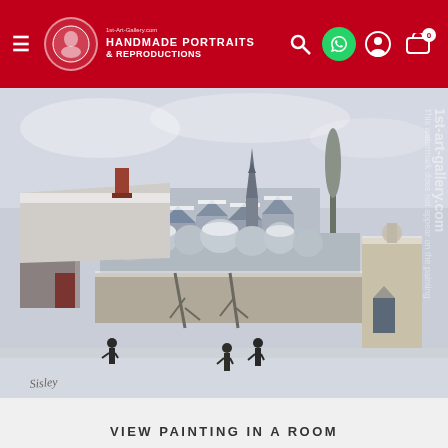1st-Art-Gallery.com HANDMADE PORTRAITS & REPRODUCTIONS
[Figure (illustration): A winter landscape painting (impressionist style) showing a snow-covered village with rooftops, a church spire, trees, a wall, small figures in the foreground, and an artist's signature at bottom left. Watermark text '1st-art-gallery.com' overlaid vertically on the right side.]
VIEW PAINTING IN A ROOM